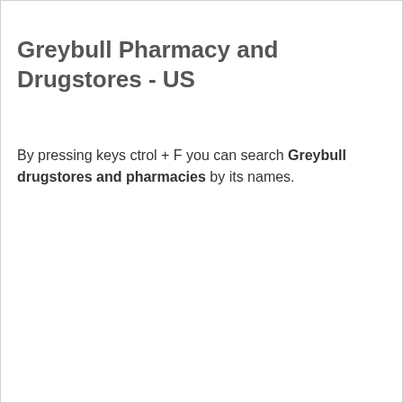Greybull Pharmacy and Drugstores - US
By pressing keys ctrol + F you can search Greybull drugstores and pharmacies by its names.